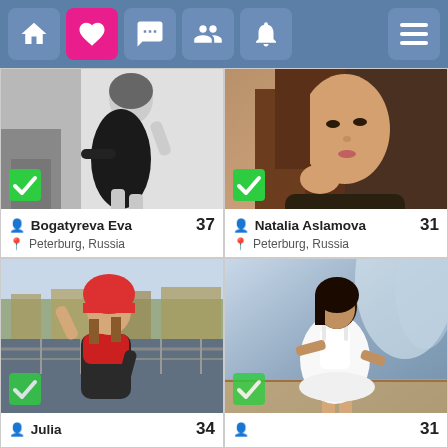[Figure (screenshot): Mobile app navigation bar with home icon, active pink heart icon, chat icon, group/friends icon, notification bell icon, and hamburger menu]
[Figure (photo): Black and white photo of a woman in a black dress posing]
Bogatyreva Eva  37
Peterburg, Russia
[Figure (photo): Color photo of a young woman with long brown hair holding her chin]
Natalia Aslamova  31
Peterburg, Russia
[Figure (photo): Color photo of a woman in a red scarf and hat on a bridge]
Julia  34
[Figure (photo): Color photo of a woman in a white dress standing near water with fountain]
31